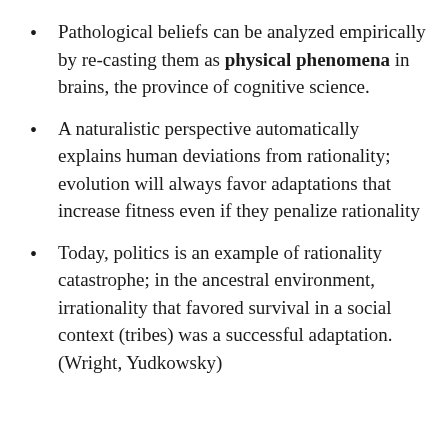Pathological beliefs can be analyzed empirically by re-casting them as physical phenomena in brains, the province of cognitive science.
A naturalistic perspective automatically explains human deviations from rationality; evolution will always favor adaptations that increase fitness even if they penalize rationality
Today, politics is an example of rationality catastrophe; in the ancestral environment, irrationality that favored survival in a social context (tribes) was a successful adaptation. (Wright, Yudkowsky)